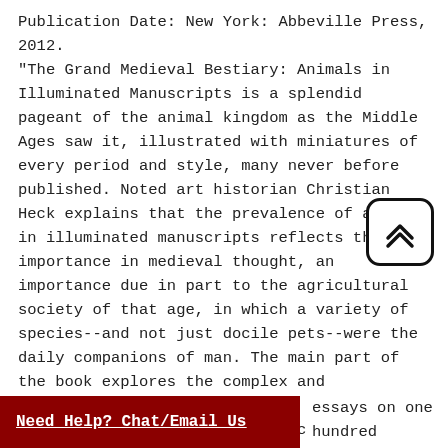Publication Date: New York: Abbeville Press, 2012. "The Grand Medieval Bestiary: Animals in Illuminated Manuscripts is a splendid pageant of the animal kingdom as the Middle Ages saw it, illustrated with miniatures of every period and style, many never before published. Noted art historian Christian Heck explains that the prevalence of animals in illuminated manuscripts reflects their importance in medieval thought, an importance due in part to the agricultural society of that age, in which a variety of species--and not just docile pets--were the daily companions of man. The main part of the book explores the complex and fascinating iconography of the individual creatures most frequently depicted by medieval miniaturists. It is arranged in the manner essays on one hundred heir Latin names. The
[Figure (other): A rounded rectangle button with double up-chevron arrow icon (scroll to top button)]
Need Help? Chat/Email Us